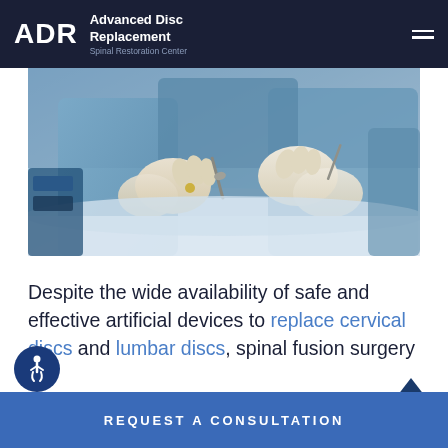ADR Advanced Disc Replacement Spinal Restoration Center
[Figure (photo): Close-up photo of surgeons in blue surgical gowns and gloves performing a surgical procedure, holding instruments over a patient]
Despite the wide availability of safe and effective artificial devices to replace cervical discs and lumbar discs, spinal fusion surgery is the most common surgical treatment for chronic neck or back pain. In spinal fusion...
REQUEST A CONSULTATION